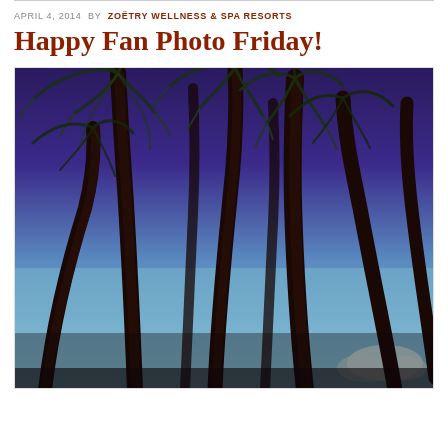APRIL 4, 2014  BY  ZOËTRY WELLNESS & SPA RESORTS
Happy Fan Photo Friday!
[Figure (photo): Looking-up photograph of tall tropical palm trees with dark trunks against a vivid blue sky with a small cloud in the lower right corner. The image has a vintage/retro color tone with deep purples in the upper sky and lighter blue-green tones lower.]